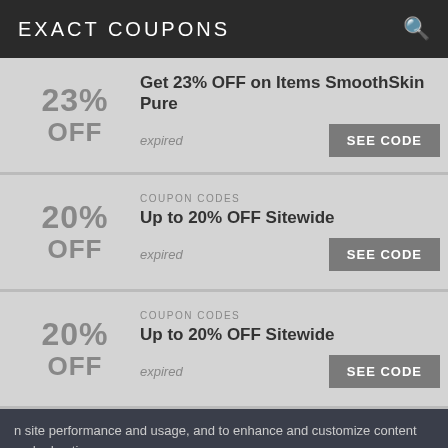EXACT COUPONS
23% OFF — Get 23% OFF on Items SmoothSkin Pure — expired — SEE CODE
COUPON CODES — 20% OFF — Up to 20% OFF Sitewide — expired — SEE CODE
COUPON CODES — 20% OFF — Up to 20% OFF Sitewide — expired — SEE CODE
n site performance and usage, and to enhance and customize content and advertise
the use of cookie.
OFF — expired — SEE CODE